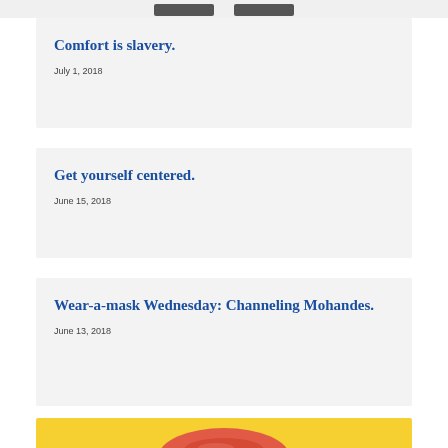Comfort is slavery.
July 1, 2018
Get yourself centered.
June 15, 2018
Wear-a-mask Wednesday: Channeling Mohandes.
June 13, 2018
[Figure (illustration): Yellow background with red lips illustration, partially visible at bottom of page]